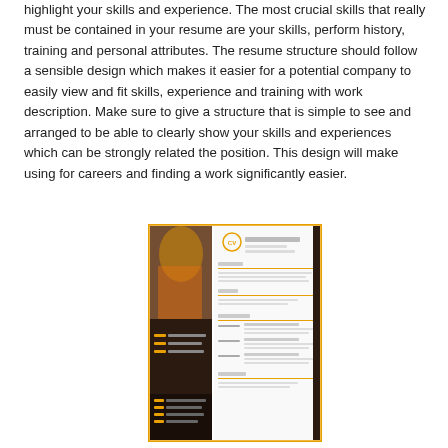highlight your skills and experience. The most crucial skills that really must be contained in your resume are your skills, perform history, training and personal attributes. The resume structure should follow a sensible design which makes it easier for a potential company to easily view and fit skills, experience and training with work description. Make sure to give a structure that is simple to see and arranged to be able to clearly show your skills and experiences which can be strongly related the position. This design will make using for careers and finding a work significantly easier.
[Figure (illustration): A resume/CV template thumbnail showing a two-column layout with a photo of a woman in an orange top on the left, and resume content sections on the right. The template has an orange border and dark sidebar elements.]